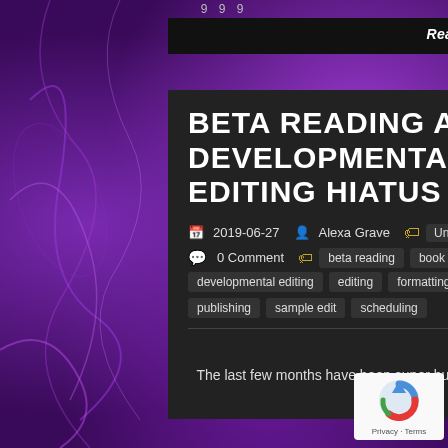9 9 9
Read on! It's all about the story!
BETA READING AND DEVELOPMENTAL EDITING HIATUS
2019-06-27  Alexa Grave  Uncategorized
0 Comment  beta reading  book  developmental editing  editing  formatting  novel  publishing  sample edit  scheduling
Hello, Writers!
The last few months have been super busy. And with many events ahead for me this summer, I've decided to take a hiatus from